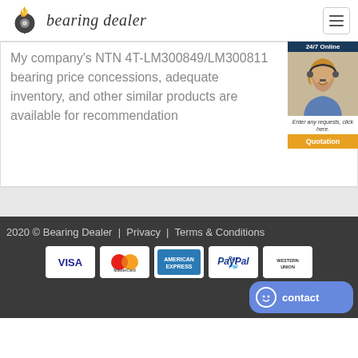[Figure (logo): Bearing Dealer logo with flaming gear icon and italic text 'bearing dealer']
My company's NTN 4T-LM300849/LM300811 bearing price concessions, adequate inventory, and other similar products are available for recommendation
[Figure (photo): 24/7 Online customer service widget with woman wearing headset, 'Enter any requests, click here.' text, and orange Quotation button]
2020 © Bearing Dealer  |  Privacy  |  Terms & Conditions
[Figure (infographic): Payment method icons: VISA, MasterCard, American Express, PayPal, Western Union]
[Figure (other): Blue contact button with smiley face icon and 'contact' text]